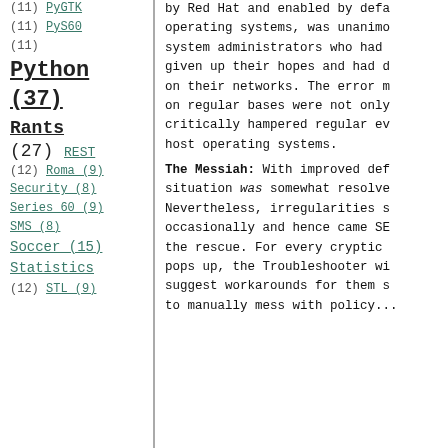(11) PyGTK
(11) PyS60
(11)
Python (37)
Rants (27) REST (12)
Roma (9)
Security (8)
Series 60 (9)
SMS (8)
Soccer (15)
Statistics (12)
STL (9)
by Red Hat and enabled by default on their operating systems, was unanimously hated by system administrators who had essentially given up their hopes and had disabled it on their networks. The error messages popping on regular bases were not only confusing but critically hampered regular everyday use of host operating systems. The Messiah: With improved defaults, the situation was somewhat resolved in Fedora. Nevertheless, irregularities still cropped occasionally and hence came SELinux AVC to the rescue. For every cryptic error that pops up, the Troubleshooter will analyze and suggest workarounds for them so you don't have to manually mess with policy...